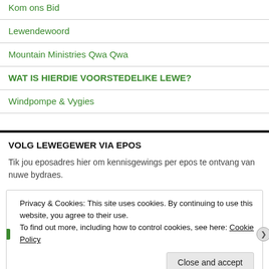Kom ons Bid
Lewendewoord
Mountain Ministries Qwa Qwa
WAT IS HIERDIE VOORSTEDELIKE LEWE?
Windpompe & Vygies
VOLG LEWEGEWER VIA EPOS
Tik jou eposadres hier om kennisgewings per epos te ontvang van nuwe bydraes.
Privacy & Cookies: This site uses cookies. By continuing to use this website, you agree to their use. To find out more, including how to control cookies, see here: Cookie Policy
Close and accept